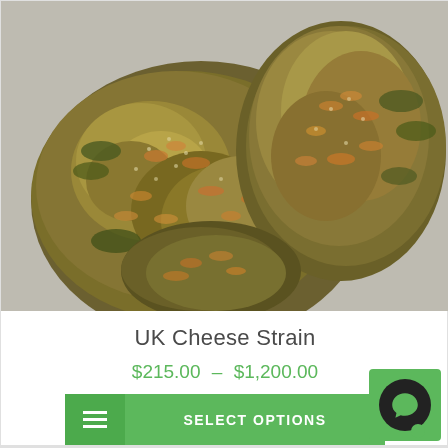[Figure (photo): Close-up photograph of UK Cheese Strain cannabis buds showing dense green and orange textured flower clusters on a light grey background]
UK Cheese Strain
$215.00  –  $1,200.00
SELECT OPTIONS